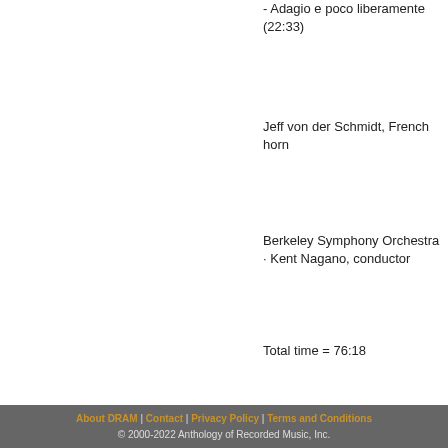- Adagio e poco liberamente (22:33)
Jeff von der Schmidt, French horn
Berkeley Symphony Orchestra · Kent Nagano, conductor
Total time = 76:18
About DRAM | Contact | Privacy Policy | Terms and Conditions © 2000-2022 Anthology of Recorded Music, Inc.